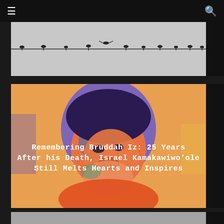Navigation bar with hamburger menu and search icon
[Figure (photo): Black and white photograph of birds sitting on a wire against a light grey sky]
[Figure (illustration): Colorful stylized painted portrait of Israel Kamakawiwo'ole (Bruddah Iz) with warm orange, blue and purple tones, with white bold text overlay reading: Remembering Bruddah Iz: 25 Years After his Death, Israel Kamakawiwo'ole Still Melts Hearts and Inspires]
Remembering Bruddah Iz: 25 Years After his Death, Israel Kamakawiwoʻole Still Melts Hearts and Inspires
[Figure (photo): Partially visible image at the bottom of the page]